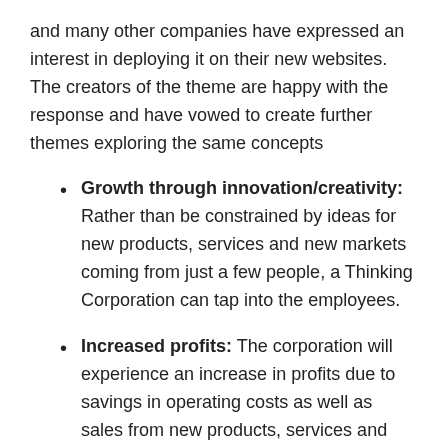and many other companies have expressed an interest in deploying it on their new websites. The creators of the theme are happy with the response and have vowed to create further themes exploring the same concepts
Growth through innovation/creativity: Rather than be constrained by ideas for new products, services and new markets coming from just a few people, a Thinking Corporation can tap into the employees.
Increased profits: The corporation will experience an increase in profits due to savings in operating costs as well as sales from new products, services and ventures.